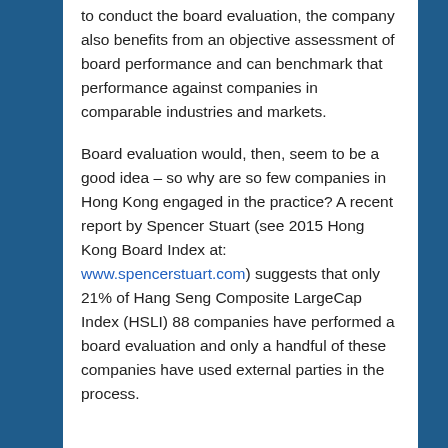to conduct the board evaluation, the company also benefits from an objective assessment of board performance and can benchmark that performance against companies in comparable industries and markets.
Board evaluation would, then, seem to be a good idea – so why are so few companies in Hong Kong engaged in the practice? A recent report by Spencer Stuart (see 2015 Hong Kong Board Index at: www.spencerstuart.com) suggests that only 21% of Hang Seng Composite LargeCap Index (HSLI) 88 companies have performed a board evaluation and only a handful of these companies have used external parties in the process.